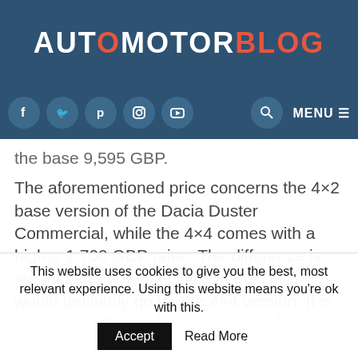AUTOMOTORBLOG
[Figure (other): Navigation bar with social media icons (Facebook, Twitter, Pinterest, Instagram, YouTube), search icon, and MENU button on dark blue background]
the base 9,595 GBP.
The aforementioned price concerns the 4×2 base version of the Dacia Duster Commercial, while the 4×4 comes with a higher 1,700 GBP price. The difference is not important, and if I lived in the UK, I would definitely go for the 4×4 version. It is more versatile and keeps you out of troubles in the rainy days when venturing on the muddy
This website uses cookies to give you the best, most relevant experience. Using this website means you're ok with this.